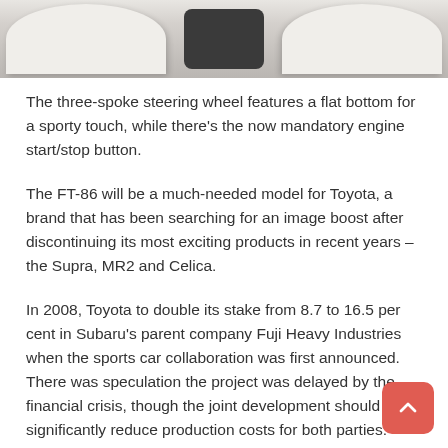[Figure (photo): Interior photo of white leather car seats with a dark center console element visible between them.]
The three-spoke steering wheel features a flat bottom for a sporty touch, while there's the now mandatory engine start/stop button.
The FT-86 will be a much-needed model for Toyota, a brand that has been searching for an image boost after discontinuing its most exciting products in recent years – the Supra, MR2 and Celica.
In 2008, Toyota to double its stake from 8.7 to 16.5 per cent in Subaru's parent company Fuji Heavy Industries when the sports car collaboration was first announced. There was speculation the project was delayed by the financial crisis, though the joint development should significantly reduce production costs for both parties.